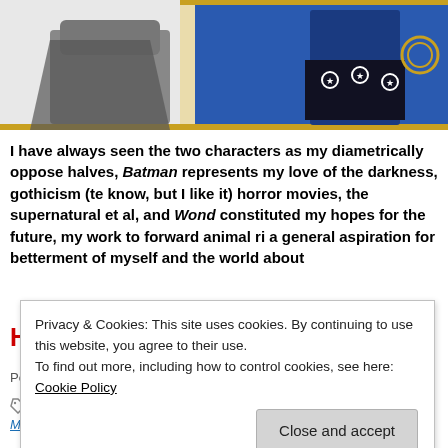[Figure (illustration): Partial view of an animated illustration showing Batman and Wonder Woman characters against a blue and gold background. Only the lower body of the characters is visible, with Wonder Woman's star-patterned shorts and golden lasso visible on the right side.]
I have always seen the two characters as my diametrically oppose halves, Batman represents my love of the darkness, gothicism (te know, but I like it) horror movies, the supernatural et al, and Wond constituted my hopes for the future, my work to forward animal ri a general aspiration for betterment of myself and the world about
Happy Wonder Woman Day!
Posted in Comics, Comics in film, Comics/television
Tags: DC Comics, Happy Wonder Woman Day, Precinct1313, William M Marston, Wonder Woman
Privacy & Cookies: This site uses cookies. By continuing to use this website, you agree to their use.
To find out more, including how to control cookies, see here: Cookie Policy
Close and accept